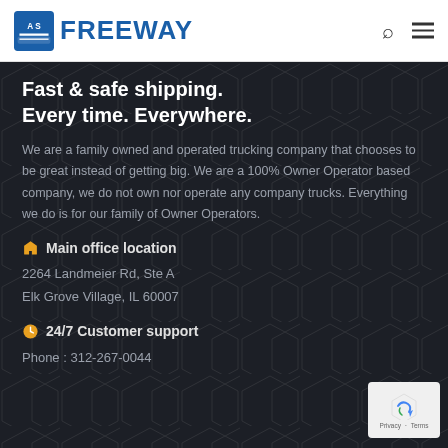AS FREEWAY
Fast & safe shipping. Every time. Everywhere.
We are a family owned and operated trucking company that chooses to be great instead of getting big. We are a 100% Owner Operator based company, we do not own nor operate any company trucks. Everything we do is for our family of Owner Operators.
Main office location
2264 Landmeier Rd, Ste A
Elk Grove Village, IL 60007
24/7 Customer support
Phone : 312-267-0044